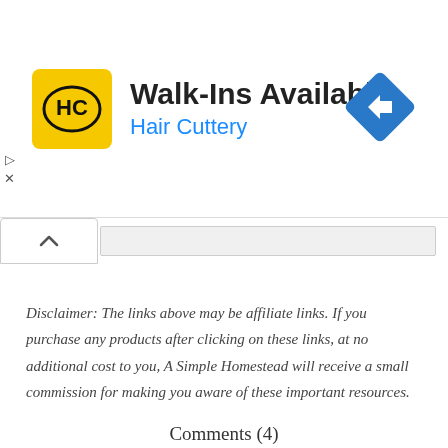[Figure (infographic): Hair Cuttery advertisement banner with yellow logo, 'Walk-Ins Available' headline, 'Hair Cuttery' subtitle in blue, and a blue direction sign icon on the right]
Disclaimer: The links above may be affiliate links. If you purchase any products after clicking on these links, at no additional cost to you, A Simple Homestead will receive a small commission for making you aware of these important resources.
Comments (4)
BAKING  CAKE  DESSERT  RECIPE